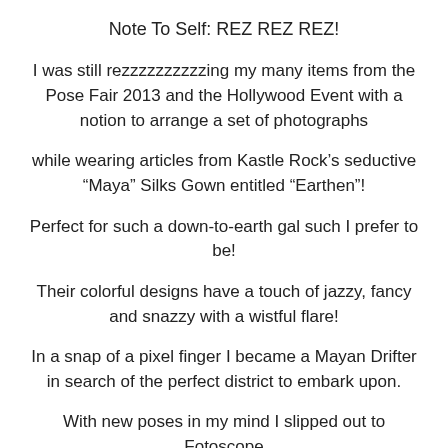Note To Self: REZ REZ REZ!
I was still rezzzzzzzzzzing my many items from the Pose Fair 2013 and the Hollywood Event with a notion to arrange a set of photographs
while wearing articles from Kastle Rock’s seductive “Maya” Silks Gown entitled “Earthen”!
Perfect for such a down-to-earth gal such I prefer to be!
Their colorful designs have a touch of jazzy, fancy and snazzy with a wistful flare!
In a snap of a pixel finger I became a Mayan Drifter in search of the perfect district to embark upon.
With new poses in my mind I slipped out to Fotoscope